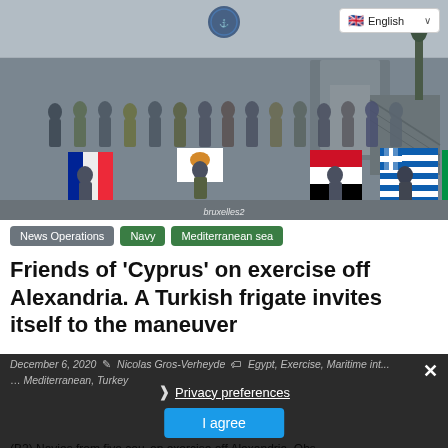[Figure (photo): Group photo of military personnel from multiple nations holding national flags (France, Cyprus, Egypt, Greece, Italy) on the deck of a naval vessel. Personnel are wearing military uniforms and face masks.]
English (language selector with flag)
News Operations
Navy
Mediterranean sea
Friends of 'Cyprus' on exercise off Alexandria. A Turkish frigate invites itself to the maneuver
December 6, 2020  Nicolas Gros-Verheyde  Egypt, Exercise, Maritime intervention, Mediterranean, Turkey
Privacy preferences
I agree
(B2) Navies from five cou...on exercise off Alexandria. Obs...                    ...